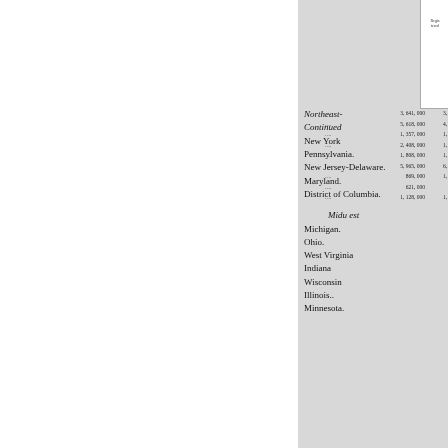| Region/State | Regis... |  |
| --- | --- | --- |
| .... | 3,641,000 | 3, |
| .... | 5,618,000 | 4, |
| .... | 1,357,000 | 1, |
| .... | 2,408,000 | 1, |
| .... | 1,808,000 | 1, |
| .... | 5,965,000 | 6, |
| .... | 869,000 | 1, |
| .... | 621,000 |  |
| .... | 1,128,000 | 1, |
Northeast-Continued
New York
Pennsylvania.
New Jersey-Delaware.
Maryland.
District of Columbia.
Midu est
Michigan.
Ohio.
West Virginia
Indiana
Wisconsin
Illinois..
Minnesota.